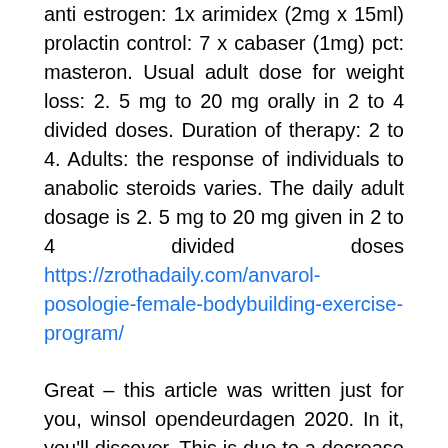anti estrogen: 1x arimidex (2mg x 15ml) prolactin control: 7 x cabaser (1mg) pct: masteron. Usual adult dose for weight loss: 2. 5 mg to 20 mg orally in 2 to 4 divided doses. Duration of therapy: 2 to 4. Adults: the response of individuals to anabolic steroids varies. The daily adult dosage is 2. 5 mg to 20 mg given in 2 to 4 divided doses https://zrothadaily.com/anvarol-posologie-female-bodybuilding-exercise-program/
Great – this article was written just for you, winsol opendeurdagen 2020. In it, you'll discover. This is due to a decrease in nitric oxide, a molecule that promotes vasodilation and blood flow to the penis. Thus, deca durabolin users can experience impotence (erectile dysfunction), known as 'deca dick', winsol opendeurdagen 2020. Interestingly, anti-estrogen medications, such as anastrozole, can be used to decrease progesterone